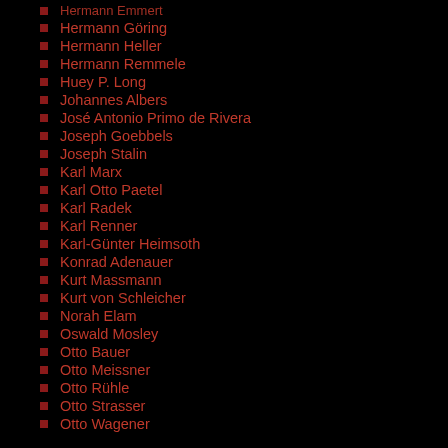Hermann Emmert
Hermann Göring
Hermann Heller
Hermann Remmele
Huey P. Long
Johannes Albers
José Antonio Primo de Rivera
Joseph Goebbels
Joseph Stalin
Karl Marx
Karl Otto Paetel
Karl Radek
Karl Renner
Karl-Günter Heimsoth
Konrad Adenauer
Kurt Massmann
Kurt von Schleicher
Norah Elam
Oswald Mosley
Otto Bauer
Otto Meissner
Otto Rühle
Otto Strasser
Otto Wagener